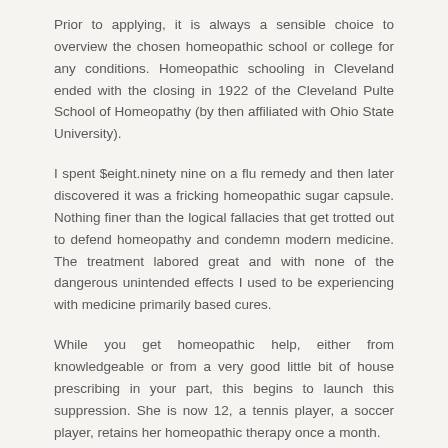Prior to applying, it is always a sensible choice to overview the chosen homeopathic school or college for any conditions. Homeopathic schooling in Cleveland ended with the closing in 1922 of the Cleveland Pulte School of Homeopathy (by then affiliated with Ohio State University).
I spent $eight.ninety nine on a flu remedy and then later discovered it was a fricking homeopathic sugar capsule. Nothing finer than the logical fallacies that get trotted out to defend homeopathy and condemn modern medicine. The treatment labored great and with none of the dangerous unintended effects I used to be experiencing with medicine primarily based cures.
While you get homeopathic help, either from knowledgeable or from a very good little bit of house prescribing in your part, this begins to launch this suppression. She is now 12, a tennis player, a soccer player, retains her homeopathic therapy once a month.